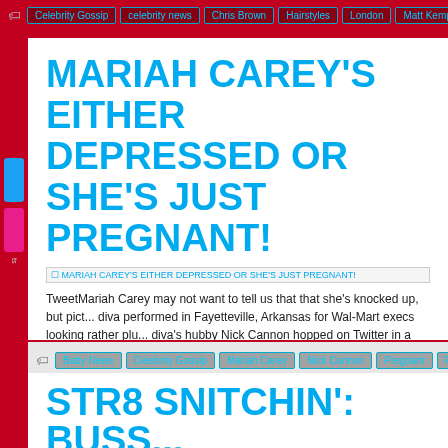Celebrity Gossip | celebrity news | Chris Brown | Hairstyles | London | Matt Kemp | R...
MARIAH CAREY'S EITHER DEPRESSED OR SHE'S JUST PREGNANT!
[Figure (screenshot): Broken image placeholder link reading: MARIAH CAREY'S EITHER DEPRESSED OR SHE'S JUST PREGNANT!]
TweetMariah Carey may not want to tell us that that she's knocked up, but pictures from when the diva performed in Fayetteville, Arkansas for Wal-Mart execs looking rather plu... the diva's hubby Nick Cannon hopped on Twitter in a desperate attempt to kill the... let herself [...]
Baby News | Celebrity Gossip | Mariah Carey | Nick Cannon | Pregnant | Rumors | S...
STR8 SNITCHIN': BUSS...